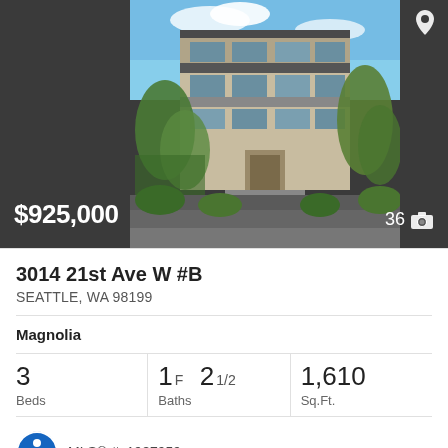[Figure (photo): Exterior photo of a modern multi-story townhouse with beige and brown facade, large windows, landscaping with trees and shrubs, front steps, blue sky background]
$925,000
36 📷
3014 21st Ave W #B
SEATTLE, WA 98199
Magnolia
3 Beds
1F 21/2 Baths
1,610 Sq.Ft.
MLS® #: 1987959